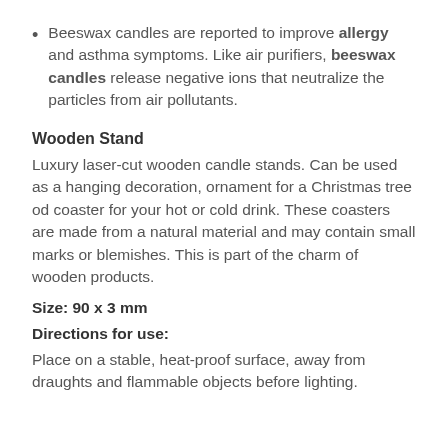Beeswax candles are reported to improve allergy and asthma symptoms. Like air purifiers, beeswax candles release negative ions that neutralize the particles from air pollutants.
Wooden Stand
Luxury laser-cut wooden candle stands. Can be used as a hanging decoration, ornament for a Christmas tree od coaster for your hot or cold drink. These coasters are made from a natural material and may contain small marks or blemishes. This is part of the charm of wooden products.
Size: 90 x 3 mm
Directions for use:
Place on a stable, heat-proof surface, away from draughts and flammable objects before lighting.